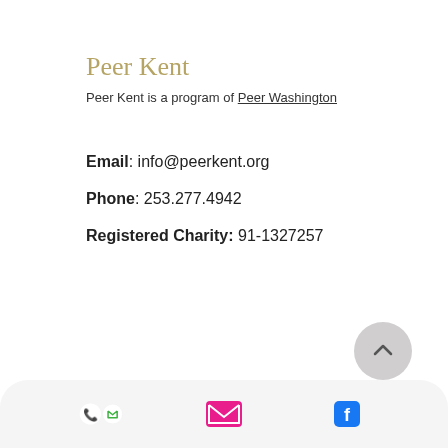Peer Kent
Peer Kent is a program of Peer Washington
Email: info@peerkent.org
Phone: 253.277.4942
Registered Charity: 91-1327257
Subscribe for updates
First N  required